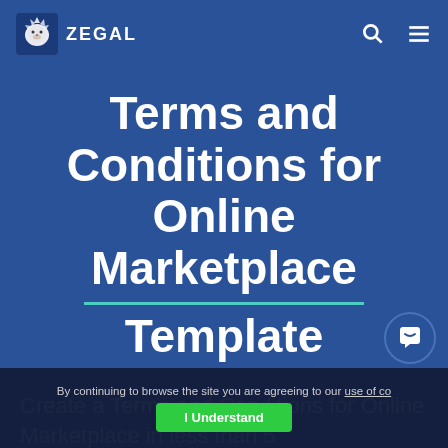ZEGAL
Terms and Conditions for Online Marketplace Template
Create a Terms and Conditions for Online Marketplace in less than 5
By continuing to browse the site you are agreeing to our use of co  I Understand